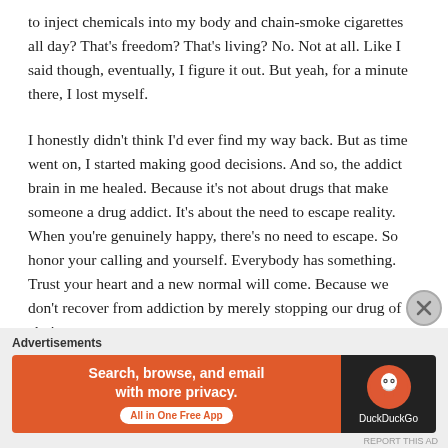to inject chemicals into my body and chain-smoke cigarettes all day? That's freedom? That's living? No. Not at all. Like I said though, eventually, I figure it out. But yeah, for a minute there, I lost myself.
I honestly didn't think I'd ever find my way back. But as time went on, I started making good decisions. And so, the addict brain in me healed. Because it's not about drugs that make someone a drug addict. It's about the need to escape reality. When you're genuinely happy, there's no need to escape. So honor your calling and yourself. Everybody has something. Trust your heart and a new normal will come. Because we don't recover from addiction by merely stopping our drug of choice.
Advertisements
[Figure (other): DuckDuckGo advertisement banner: orange left panel with text 'Search, browse, and email with more privacy. All in One Free App' and dark right panel with DuckDuckGo logo and text.]